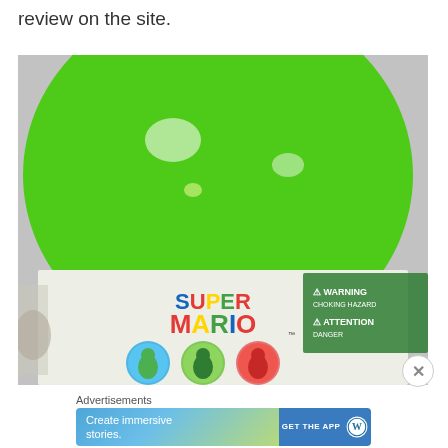review on the site.
[Figure (photo): A green dome-shaped toy capsule with a Super Mario branded label wrapped around the lower portion. The label shows 'SUPER MARIO' text in colorful letters and circular character icons including Yoshi and other characters. A warning triangle symbol is visible on the right side of the label.]
Advertisements
[Figure (other): Advertisement banner with gradient blue-green background on the left reading 'Create immersive stories.' and a blue section on the right with 'GET THE APP' text and a WordPress logo circle.]